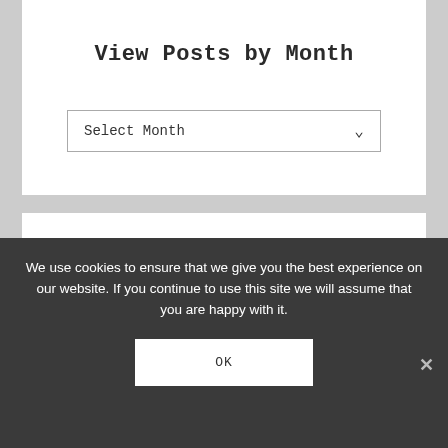View Posts by Month
Select Month
View Posts by Category
We use cookies to ensure that we give you the best experience on our website. If you continue to use this site we will assume that you are happy with it.
OK